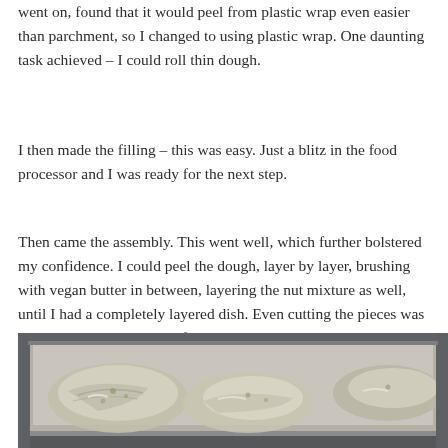went on, found that it would peel from plastic wrap even easier than parchment, so I changed to using plastic wrap. One daunting task achieved – I could roll thin dough.
I then made the filling – this was easy. Just a blitz in the food processor and I was ready for the next step.
Then came the assembly. This went well, which further bolstered my confidence. I could peel the dough, layer by layer, brushing with vegan butter in between, layering the nut mixture as well, until I had a completely layered dish. Even cutting the pieces was pretty easy. All that was left was baking and allowing it to sit. And so I did, crossing fingers.
[Figure (photo): Photo of a baking dish containing layered dough/pastry pieces, viewed from above at an angle, with a dark metal pan visible.]